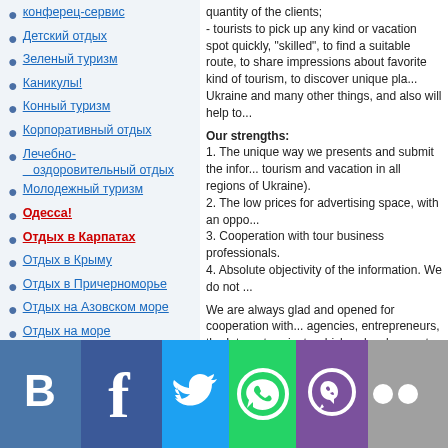конферец-сервис
Детский отдых
Зеленый туризм
Каникулы!
Конный туризм
Корпоративный отдых
Лечебно-оздоровительный отдых
Молодежный туризм
Одесса!
Отдых в Карпатах
Отдых в Крыму
Отдых в Причерноморье
Отдых на Азовском море
Отдых на море
Отдых под Киевом
Охота и рыбалка
Паломнические туры
Пешеходный туризм
Приключенческий туризм
quantity of the clients; - tourists to pick up any kind or vacation spot quickly, "skilled", to find a suitable route, to share impressions about favorite kind of tourism, to discover unique places of Ukraine and many other things, and also will help to
Our strengths:
1. The unique way we presents and submit the information (tourism and vacation in all regions of Ukraine).
2. The low prices for advertising space, with an opportunity ...
3. Cooperation with tour business professionals.
4. Absolute objectivity of the information. We do not ...
We are always glad and opened for cooperation with ... agencies, entrepreneurs, the Internet-projects which ... development of tourism in Ukraine!
Have great vacation and travel in Ukraine!
For travel to Ukraine, we offer the services of tourist ... http://www.royalvoyage-int.com
Royal Voyage International gives you the chance to ... country with extraordinary beauty and hospitality.
[Figure (infographic): Social media share buttons: VK (blue), Facebook (dark blue), Twitter (light blue), WhatsApp (green), Viber (purple), more (gray)]